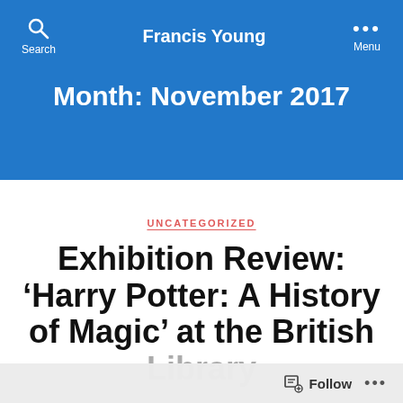Francis Young
Month: November 2017
UNCATEGORIZED
Exhibition Review: ‘Harry Potter: A History of Magic’ at the British Library